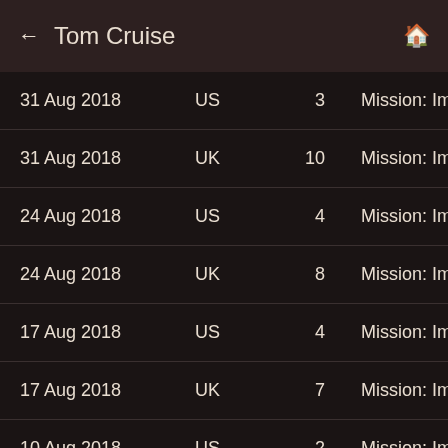← Tom Cruise 🏠
| Date | Country | Rank | Title |
| --- | --- | --- | --- |
| 31 Aug 2018 | US | 3 | Mission: Imposs |
| 31 Aug 2018 | UK | 10 | Mission: Imposs |
| 24 Aug 2018 | US | 4 | Mission: Imposs |
| 24 Aug 2018 | UK | 8 | Mission: Imposs |
| 17 Aug 2018 | US | 4 | Mission: Imposs |
| 17 Aug 2018 | UK | 7 | Mission: Imposs |
| 10 Aug 2018 | US | 2 | Mission: Imposs |
| 10 Aug 2018 | UK | 5 | Mission: Imposs |